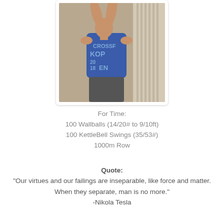[Figure (photo): Athlete in a blue CrossFit tank top (CrossFit KOP 2018) with arms raised, working out against an ornate stone column background.]
For Time:
100 Wallballs (14/20# to 9/10ft)
100 KettleBell Swings (35/53#)
1000m Row
Quote:
"Our virtues and our failings are inseparable, like force and matter. When they separate, man is no more."
-Nikola Tesla